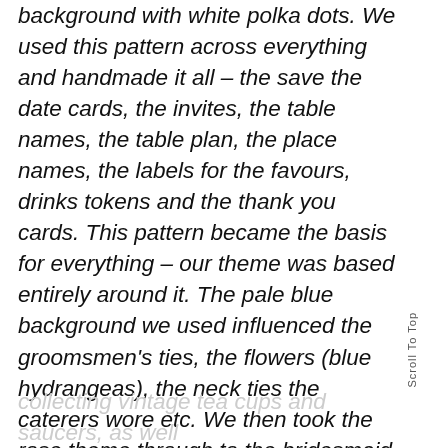background with white polka dots. We used this pattern across everything and handmade it all – the save the date cards, the invites, the table names, the table plan, the place names, the labels for the favours, drinks tokens and the thank you cards. This pattern became the basis for everything – our theme was based entirely around it. The pale blue background we used influenced the groomsmen's ties, the flowers (blue hydrangeas), the neck ties the caterers wore etc. We then took the rose theme through to the bridesmaid dresses, my accessories, the table plan board and more. I spent a good few months hitting the flea markets and started
collecting vintage tea cups and saucers, as well